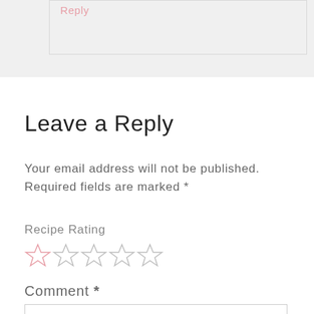Reply
Leave a Reply
Your email address will not be published. Required fields are marked *
Recipe Rating
[Figure (other): Five empty star rating icons in a row]
Comment *